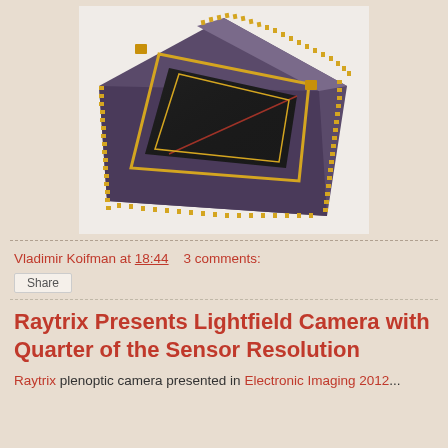[Figure (photo): Close-up photo of an image sensor chip — a square ceramic package with gold connector pads around the perimeter and a dark square sensor die visible on the surface, photographed at an angle against a white background.]
Vladimir Koifman at 18:44    3 comments:
Share
Raytrix Presents Lightfield Camera with Quarter of the Sensor Resolution
Raytrix plenoptic camera presented in Electronic Imaging 2012...